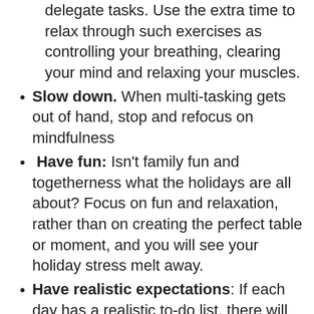delegate tasks. Use the extra time to relax through such exercises as controlling your breathing, clearing your mind and relaxing your muscles.
Slow down. When multi-tasking gets out of hand, stop and refocus on mindfulness
Have fun: Isn't family fun and togetherness what the holidays are all about? Focus on fun and relaxation, rather than on creating the perfect table or moment, and you will see your holiday stress melt away.
Have realistic expectations: If each day has a realistic to-do list, there will be success at the end of the day, rather than failure.
Enjoy some me time: Don't become so involved with holiday preparations that you forget to take care of yourself. Falling into bed exhausted each night is not rest. Rejuvenate by reading a book, enjoying a cup of tea, getting a spa treatment or simply watching a funny television